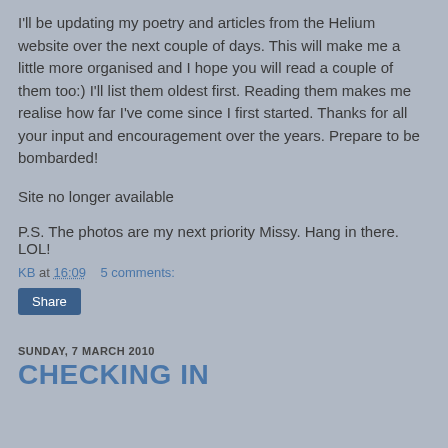I'll be updating my poetry and articles from the Helium website over the next couple of days. This will make me a little more organised and I hope you will read a couple of them too:) I'll list them oldest first. Reading them makes me realise how far I've come since I first started. Thanks for all your input and encouragement over the years. Prepare to be bombarded!
Site no longer available
P.S. The photos are my next priority Missy. Hang in there. LOL!
KB at 16:09    5 comments:
Share
SUNDAY, 7 MARCH 2010
CHECKING IN